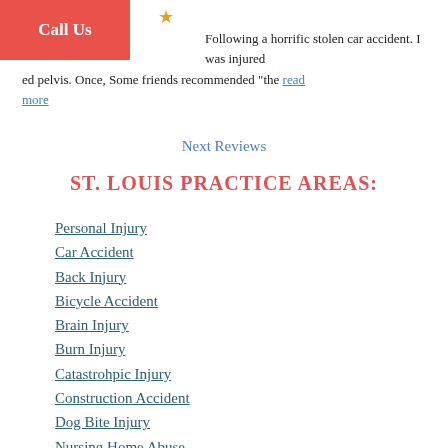Following a horrific stolen car accident. I was injured ... ed pelvis. Once, Some friends recommended "the read more
Next Reviews
ST. LOUIS PRACTICE AREAS:
Personal Injury
Car Accident
Back Injury
Bicycle Accident
Brain Injury
Burn Injury
Catastrohpic Injury
Construction Accident
Dog Bite Injury
Nursing Home Abuse
Bedsore Injuries
Pedestrian Accident
Premises Liability Accident
Product Liability